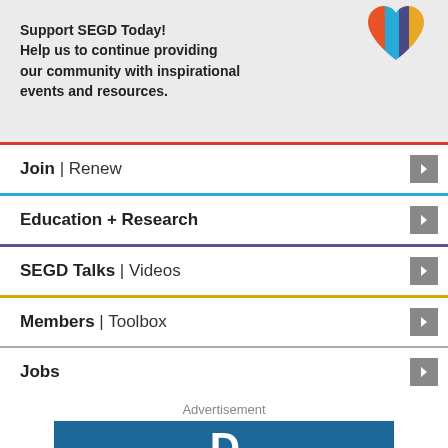[Figure (illustration): Colorful heart icon with orange, blue, purple, and yellow sections in top right of promo box]
Support SEGD Today! Help us to continue providing our community with inspirational events and resources.
Join | Renew
Education + Research
SEGD Talks | Videos
Members | Toolbox
Jobs
Advertisement
[Figure (logo): Blue advertisement banner with white stylized letter D logo]